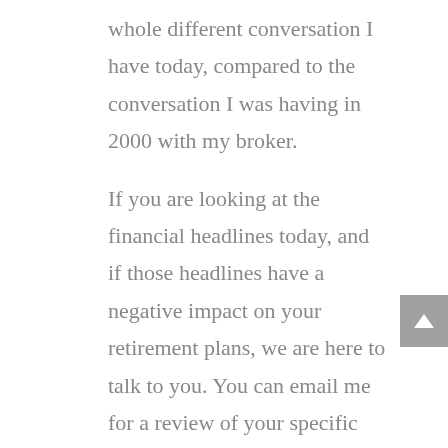whole different conversation I have today, compared to the conversation I was having in 2000 with my broker.
If you are looking at the financial headlines today, and if those headlines have a negative impact on your retirement plans, we are here to talk to you. You can email me for a review of your specific situation. We can craft a solution specific to your needs and goals. You can quit losing sleep when the financial headlines get grim, and you can start looking forward to your family's financial future.